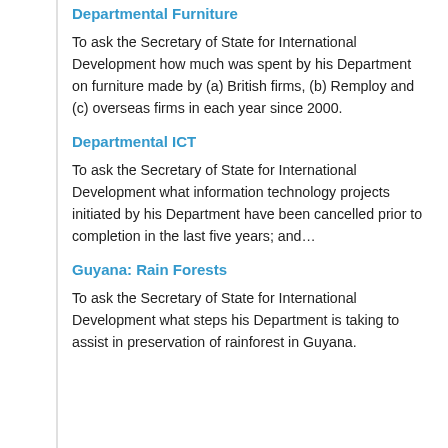Departmental Furniture
To ask the Secretary of State for International Development how much was spent by his Department on furniture made by (a) British firms, (b) Remploy and (c) overseas firms in each year since 2000.
Departmental ICT
To ask the Secretary of State for International Development what information technology projects initiated by his Department have been cancelled prior to completion in the last five years; and…
Guyana: Rain Forests
To ask the Secretary of State for International Development what steps his Department is taking to assist in preservation of rainforest in Guyana.